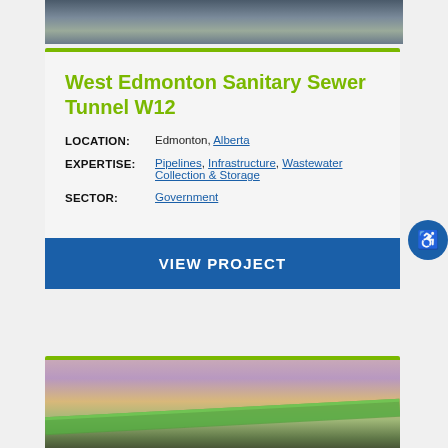[Figure (photo): Partial view of a tunnel construction interior photo, cropped at top of page]
West Edmonton Sanitary Sewer Tunnel W12
LOCATION: Edmonton, Alberta
EXPERTISE: Pipelines, Infrastructure, Wastewater Collection & Storage
SECTOR: Government
VIEW PROJECT
[Figure (photo): Construction site photo showing green pipeline being lifted by crane at dusk with workers in hard hats visible]